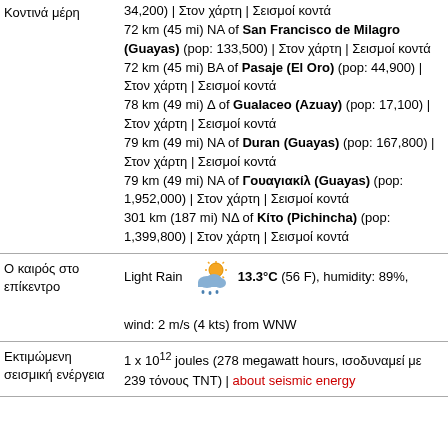| Label | Content |
| --- | --- |
| Κοντινά μέρη | 34,200) | Στον χάρτη | Σεισμοί κοντά
72 km (45 mi) ΝΑ of San Francisco de Milagro (Guayas) (pop: 133,500) | Στον χάρτη | Σεισμοί κοντά
72 km (45 mi) ΒΑ of Pasaje (El Oro) (pop: 44,900) | Στον χάρτη | Σεισμοί κοντά
78 km (49 mi) Δ of Gualaceo (Azuay) (pop: 17,100) | Στον χάρτη | Σεισμοί κοντά
79 km (49 mi) ΝΑ of Duran (Guayas) (pop: 167,800) | Στον χάρτη | Σεισμοί κοντά
79 km (49 mi) ΝΑ of Γουαγιακίλ (Guayas) (pop: 1,952,000) | Στον χάρτη | Σεισμοί κοντά
301 km (187 mi) ΝΔ of Κίτο (Pichincha) (pop: 1,399,800) | Στον χάρτη | Σεισμοί κοντά |
| Ο καιρός στο επίκεντρο | Light Rain [icon] 13.3°C (56 F), humidity: 89%, wind: 2 m/s (4 kts) from WNW |
| Εκτιμώμενη σεισμική ενέργεια | 1 x 10^12 joules (278 megawatt hours, ισοδυναμεί με 239 τόνους TNT) | about seismic energy |